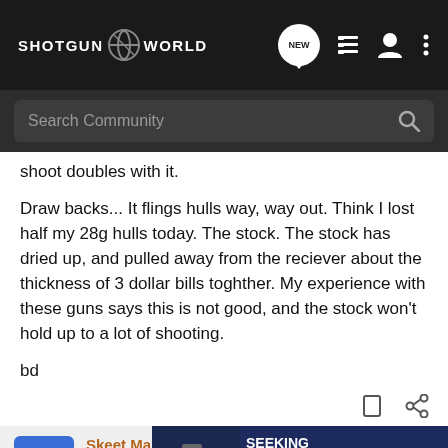SHOTGUN WORLD — navigation bar with logo, NEW button, list icon, user icon, more icon
Search Community
shoot doubles with it.

Draw backs... It flings hulls way, way out. Think I lost half my 28g hulls today. The stock. The stock has dried up, and pulled away from the reciever about the thickness of 3 dollar bills toghther. My experience with these guns says this is not good, and the stock won't hold up to a lot of shooting.

bd
[Figure (screenshot): Kel-Tec advertisement banner: SEEKING LONG RANGE RELATIONSHIP — THE CP33 PISTOL, with image of pistol on dark blue background]